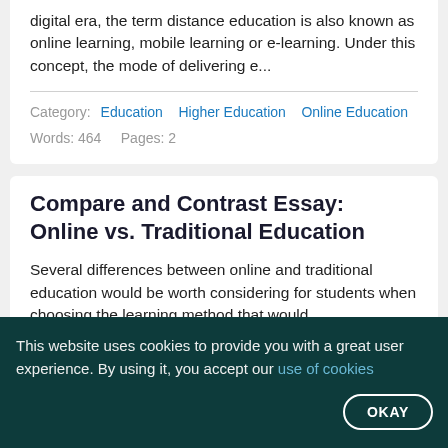digital era, the term distance education is also known as online learning, mobile learning or e-learning. Under this concept, the mode of delivering e...
Category: Education  Higher Education  Online Education
Words: 464    Pages: 2
Compare and Contrast Essay: Online vs. Traditional Education
Several differences between online and traditional education would be worth considering for students when choosing the learning method that would best suit their learning styl...
This website uses cookies to provide you with a great user experience. By using it, you accept our use of cookies
OKAY